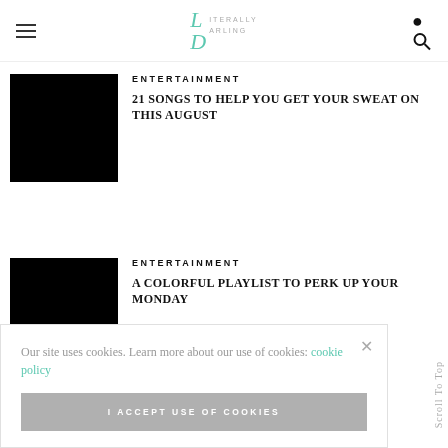Literally Darling
ENTERTAINMENT
21 SONGS TO HELP YOU GET YOUR SWEAT ON THIS AUGUST
[Figure (photo): Black thumbnail image for article 1]
ENTERTAINMENT
A COLORFUL PLAYLIST TO PERK UP YOUR MONDAY
[Figure (photo): Black thumbnail image for article 2]
Our site uses cookies. Learn more about our use of cookies: cookie policy
I ACCEPT USE OF COOKIES
Scroll To Top